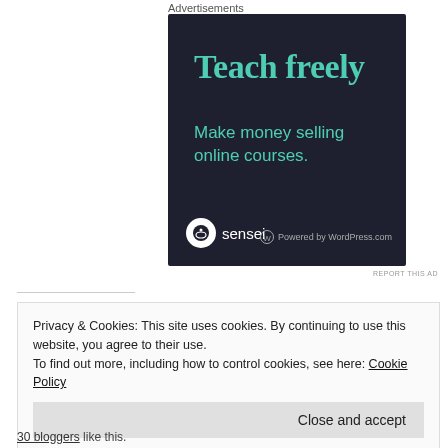Advertisements
[Figure (illustration): Dark navy advertisement banner for Sensei plugin with text 'Teach freely' and 'Make money selling online courses.' with Sensei logo and 'Powered by WordPress.com' at the bottom.]
REPORT THIS AD
Privacy & Cookies: This site uses cookies. By continuing to use this website, you agree to their use.
To find out more, including how to control cookies, see here: Cookie Policy
Close and accept
30 bloggers like this.